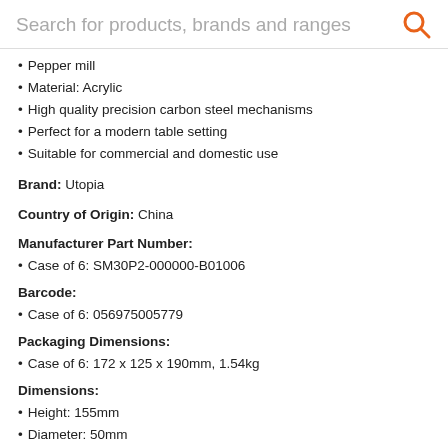Search for products, brands and ranges
Pepper mill
Material: Acrylic
High quality precision carbon steel mechanisms
Perfect for a modern table setting
Suitable for commercial and domestic use
Brand: Utopia
Country of Origin: China
Manufacturer Part Number:
Case of 6: SM30P2-000000-B01006
Barcode:
Case of 6: 056975005779
Packaging Dimensions:
Case of 6: 172 x 125 x 190mm, 1.54kg
Dimensions:
Height: 155mm
Diameter: 50mm
Volume: 0ml
Length: 0mm